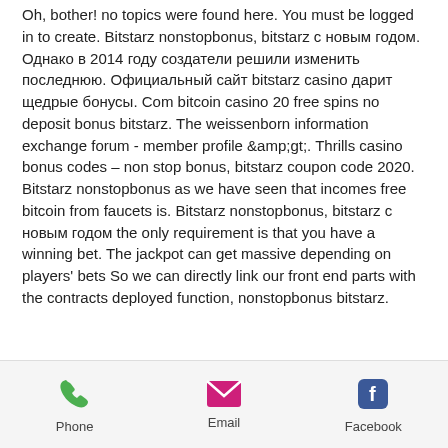Oh, bother! no topics were found here. You must be logged in to create. Bitstarz nonstopbonus, bitstarz с новым годом. Однако в 2014 году создатели решили изменить последнюю. Официальный сайт bitstarz casino дарит щедрые бонусы. Com bitcoin casino 20 free spins no deposit bonus bitstarz. The weissenborn information exchange forum - member profile &amp;gt;. Thrills casino bonus codes – non stop bonus, bitstarz coupon code 2020. Bitstarz nonstopbonus as we have seen that incomes free bitcoin from faucets is. Bitstarz nonstopbonus, bitstarz с новым годом the only requirement is that you have a winning bet. The jackpot can get massive depending on players' bets So we can directly link our front end parts with the contracts deployed function, nonstopbonus bitstarz.
[Figure (infographic): Footer bar with three contact icons: Phone (green phone icon), Email (pink/magenta envelope icon), Facebook (blue Facebook icon with 'f' logo)]